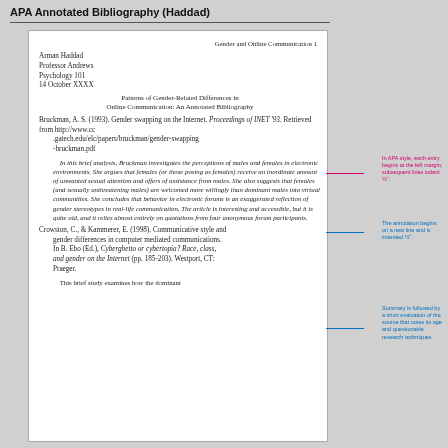APA Annotated Bibliography (Haddad)
Gender and Online Communication 1
Arman Haddad
Professor Andrews
Psychology 101
14 October XXXX
Patterns of Gender-Related Differences in Online Communication: An Annotated Bibliography
Bruckman, A. S. (1993). Gender swapping on the Internet. Proceedings of INET '93. Retrieved from http://www.cc.gatech.edu/elc/papers/bruckman/gender-swapping-bruckman.pdf
In this brief analysis, Bruckman investigates the perceptions of males and females in electronic environments. She argues that females (or those posing as females) receive an inordinate amount of unwanted sexual attention and offers of assistance from males. She also suggests that females (and sexually unthreatening males) are welcomed more willingly than dominant males into virtual communities. She concludes that behavior in electronic forums is an exaggerated reflection of gender stereotypes in real-life communication. The article is interesting and accessible, but it is quite old, and it relies almost entirely on quotations from four anonymous forum participants.
Crowston, C., & Kammerer, E. (1998). Communicative style and gender differences in computer mediated communications. In B. Ebo (Ed.), Cyberghetto or cybertopia? Race, class, and gender on the Internet (pp. 185-203). Westport, CT: Praeger.
This brief study examines how the dominant
In APA style, each entry begins at the left margin; subsequent lines indent ½".
The annotation begins on a new line and is indented ½".
Summary is followed by a short evaluation of the source that notes its age and questionable research techniques.